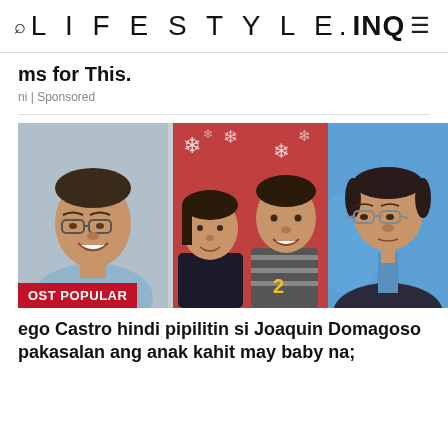LIFESTYLE.INQ
ms for This.
ni | Sponsored
[Figure (photo): Three-panel photo collage: left panel shows a smiling middle-aged Filipino man with glasses in a light blue shirt; center panel shows a young Filipino couple in front of a Christmas/snowflake background; right panel shows a middle-aged Filipino man with glasses in a dark blazer against a blue background. A red badge reads 'OST POPULAR' over the left panel.]
ego Castro hindi pipilitin si Joaquin Domagoso pakasalan ang anak kahit may baby na;